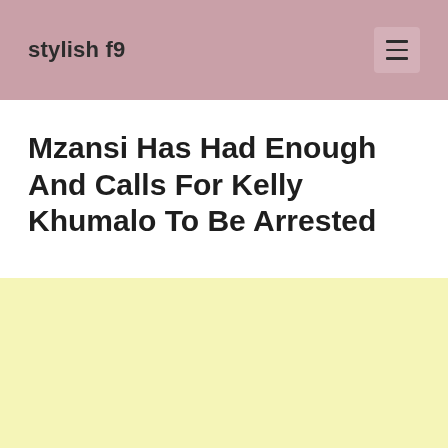stylish f9
Mzansi Has Had Enough And Calls For Kelly Khumalo To Be Arrested
[Figure (other): Yellow/cream colored advertisement or placeholder banner block]